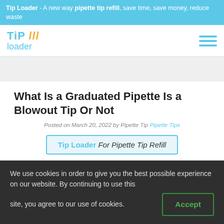Tip Loader - A new way pipette tip refill, save time, save money, reduce waste
[Figure (logo): TiP loader logo with orange slashes and teal text, hamburger menu icon on right]
What Is a Graduated Pipette Is a Blowout Tip Or Not
Posted on March 20, 2022 by Pipette Tip Pipette Tips
Tip Loader For Pipette Tip Refill
We use cookies in order to give you the best possible experience on our website. By continuing to use this site, you agree to our use of cookies.
Accept